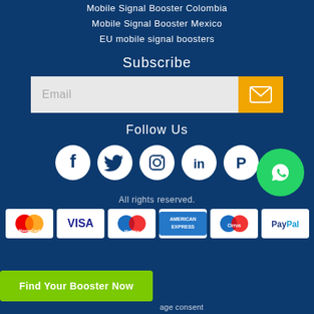Mobile Signal Booster Colombia
Mobile Signal Booster Mexico
EU mobile signal boosters
Subscribe
[Figure (infographic): Email subscription input field with envelope button]
Follow Us
[Figure (infographic): Social media icons: Facebook, Twitter, Instagram, LinkedIn, Pinterest]
[Figure (infographic): WhatsApp floating button (green circle)]
All rights reserved.
[Figure (infographic): Payment method logos: MasterCard, VISA, Maestro, American Express, Cirrus, PayPal]
Find Your Booster Now
age consent